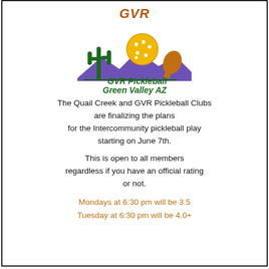GVR
[Figure (logo): GVR Pickleball Green Valley AZ logo with saguaro cactus, yellow pickleball, purple mountains, and paddle]
The Quail Creek and GVR Pickleball Clubs are finalizing the plans for the Intercommunity pickleball play starting on June 7th.
This is open to all members regardless if you have an official rating or not.
Mondays at 6:30 pm will be 3.5
Tuesday at 6:30 pm will be 4.0+